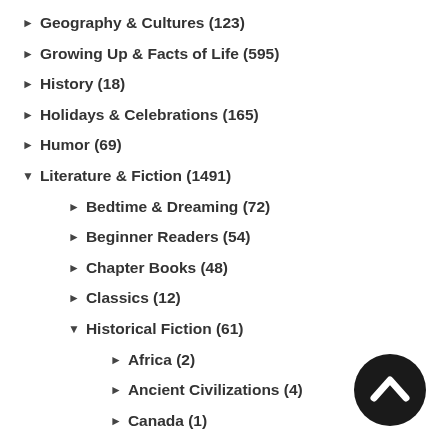Geography & Cultures (123)
Growing Up & Facts of Life (595)
History (18)
Holidays & Celebrations (165)
Humor (69)
Literature & Fiction (1491)
Bedtime & Dreaming (72)
Beginner Readers (54)
Chapter Books (48)
Classics (12)
Historical Fiction (61)
Africa (2)
Ancient Civilizations (4)
Canada (1)
[Figure (illustration): Black circular button with upward-pointing chevron arrow (back to top button)]